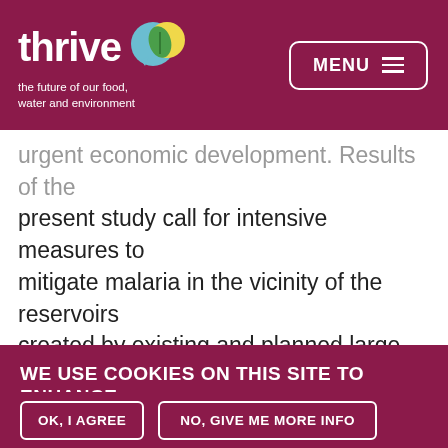thrive — the future of our food, water and environment | MENU
urgent economic development. Results of the present study call for intensive measures to mitigate malaria in the vicinity of the reservoirs created by existing and planned large dams. Whilst recognizing the importance of dams for
WE USE COOKIES ON THIS SITE TO ENHANCE YOUR USER EXPERIENCE
By clicking any link on this page you are giving your consent for us to set cookies.
OK, I AGREE
NO, GIVE ME MORE INFO